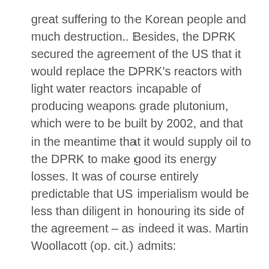great suffering to the Korean people and much destruction.. Besides, the DPRK secured the agreement of the US that it would replace the DPRK's reactors with light water reactors incapable of producing weapons grade plutonium, which were to be built by 2002, and that in the meantime that it would supply oil to the DPRK to make good its energy losses. It was of course entirely predictable that US imperialism would be less than diligent in honouring its side of the agreement – as indeed it was. Martin Woollacott (op. cit.) admits:
“Often forgotten in accounts of North Koran duplicity is that the American have not kept most of these promises”.
From the point of view of the DPRK, however, the considerable damage to its economy done by these